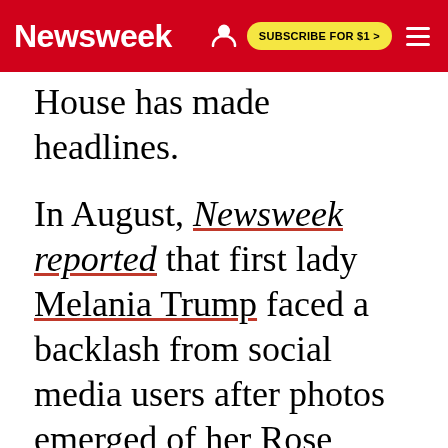Newsweek | SUBSCRIBE FOR $1 >
House has made headlines.
In August, Newsweek reported that first lady Melania Trump faced a backlash from social media users after photos emerged of her Rose Garden refurbishment.